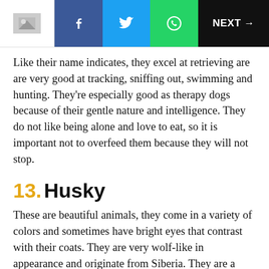NEXT →
Like their name indicates, they excel at retrieving are are very good at tracking, sniffing out, swimming and hunting. They're especially good as therapy dogs because of their gentle nature and intelligence. They do not like being alone and love to eat, so it is important not to overfeed them because they will not stop.
13. Husky
These are beautiful animals, they come in a variety of colors and sometimes have bright eyes that contrast with their coats. They are very wolf-like in appearance and originate from Siberia. They are a very difficult breed to train and do not look to